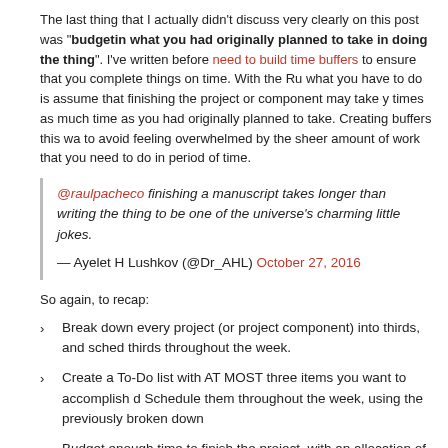The last thing that I actually didn't discuss very clearly on this post was "budgeting what you had originally planned to take in doing the thing". I've written before about the need to build time buffers to ensure that you complete things on time. With the Rule of Three, what you have to do is assume that finishing the project or component may take you up to 3 times as much time as you had originally planned to take. Creating buffers this way also help to avoid feeling overwhelmed by the sheer amount of work that you need to do in such a short period of time.
@raulpacheco finishing a manuscript takes longer than writing the thing to be finished is one of the universe's charming little jokes.
— Ayelet H Lushkov (@Dr_AHL) October 27, 2016
So again, to recap:
Break down every project (or project component) into thirds, and schedule those thirds throughout the week.
Create a To-Do list with AT MOST three items you want to accomplish during the week. Schedule them throughout the week, using the previously broken down
Budget enough time to finish the project, with an allocation of up to 3 times the time you had planned to take in the first place.
A very close friend of mine, and colleague, has already implemented this Granula